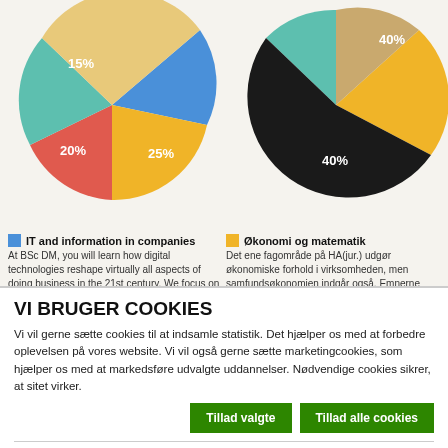[Figure (pie-chart): IT and information in companies]
[Figure (pie-chart): Økonomi og matematik]
IT and information in companies
At BSc DM, you will learn how digital technologies reshape virtually all aspects of doing business in the 21st century. We focus on the relationship between digital transformations and management
Økonomi og matematik
Det ene fagområde på HA(jur.) udgør økonomiske forhold i virksomheden, men samfundsøkonomien indgår også. Emnerne relaterer sig til de økonomiske områder, der supplerer erhvervsjuraen
VI BRUGER COOKIES
Vi vil gerne sætte cookies til at indsamle statistik. Det hjælper os med at forbedre oplevelsen på vores website. Vi vil også gerne sætte marketingcookies, som hjælper os med at markedsføre udvalgte uddannelser. Nødvendige cookies sikrer, at sitet virker.
Tillad valgte
Tillad alle cookies
Nødvendig   Præferencer   Statistik
Marketing
Vis detaljer